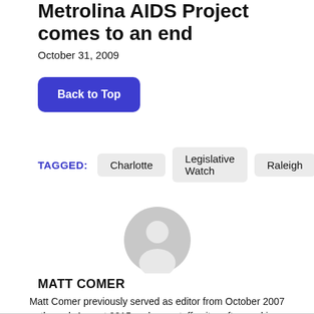Metrolina AIDS Project comes to an end
October 31, 2009
Back to Top
TAGGED: Charlotte Legislative Watch Raleigh
[Figure (illustration): Generic user avatar icon in gray]
MATT COMER
Matt Comer previously served as editor from October 2007 through August 2015 and as a staff writer afterward in 2016. More by Matt Comer